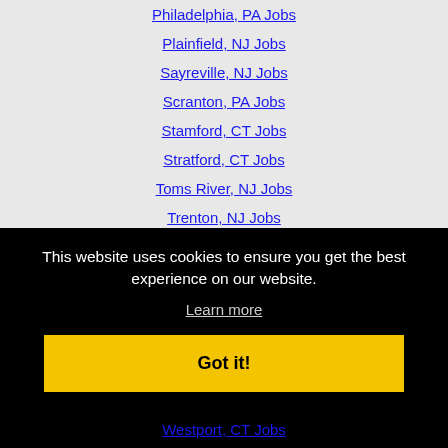Philadelphia, PA Jobs
Plainfield, NJ Jobs
Sayreville, NJ Jobs
Scranton, PA Jobs
Stamford, CT Jobs
Stratford, CT Jobs
Toms River, NJ Jobs
Trenton, NJ Jobs
Union, NJ Jobs
Union City, NJ Jobs
This website uses cookies to ensure you get the best experience on our website.
Learn more
Got it!
Westport, CT Jobs